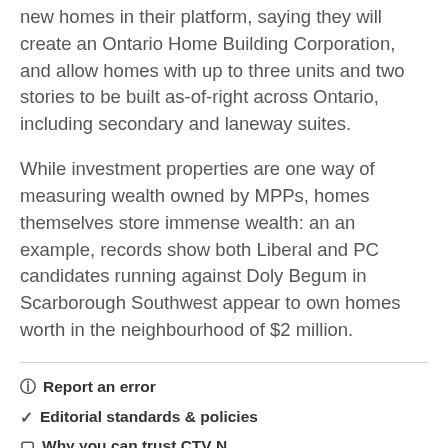new homes in their platform, saying they will create an Ontario Home Building Corporation, and allow homes with up to three units and two stories to be built as-of-right across Ontario, including secondary and laneway suites.
While investment properties are one way of measuring wealth owned by MPPs, homes themselves store immense wealth: an an example, records show both Liberal and PC candidates running against Doly Begum in Scarborough Southwest appear to own homes worth in the neighbourhood of $2 million.
Report an error | Editorial standards & policies | Why you can trust CTV N...